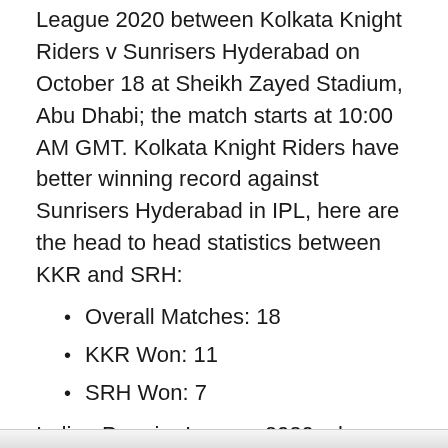League 2020 between Kolkata Knight Riders v Sunrisers Hyderabad on October 18 at Sheikh Zayed Stadium, Abu Dhabi; the match starts at 10:00 AM GMT. Kolkata Knight Riders have better winning record against Sunrisers Hyderabad in IPL, here are the head to head statistics between KKR and SRH:
Overall Matches: 18
KKR Won: 11
SRH Won: 7
Indian Premier League 2020, also known as Dream11 IPL 2020 is the 13th edition of the Indian Premier League. IPL is a professional men's domestic Twenty20 cricket league competition in India, the league was founded by the Board of Control for Cricket in India. IPL – Indian Premier League 2020 features fifty-nine matches (56 group match, two qualifiers, one eliminator, and the final).